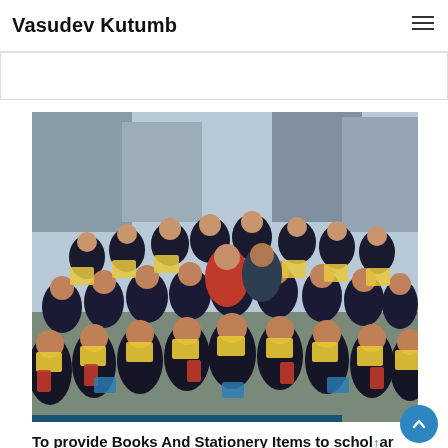Vasudev Kutumb
[Figure (photo): A large group of school children in uniforms holding up books and stationery kits, along with two adult organizers, posed outdoors in a school courtyard.]
To provide Books And Stationery Items to scholar poor children.